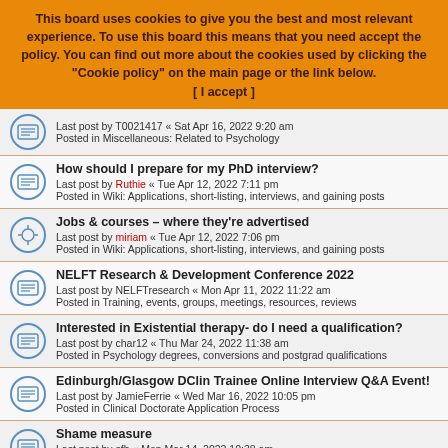This board uses cookies to give you the best and most relevant experience. To use this board this means that you need accept the policy. You can find out more about the cookies used by clicking the "Cookie policy" on the main page or the link below. [ I accept ]
Last post by T0021417 « Sat Apr 16, 2022 9:20 am
Posted in Miscellaneous: Related to Psychology
How should I prepare for my PhD interview?
Last post by Ruthie « Tue Apr 12, 2022 7:11 pm
Posted in Wiki: Applications, short-listing, interviews, and gaining posts
Jobs & courses – where they're advertised
Last post by miriam « Tue Apr 12, 2022 7:06 pm
Posted in Wiki: Applications, short-listing, interviews, and gaining posts
NELFT Research & Development Conference 2022
Last post by NELFTresearch « Mon Apr 11, 2022 11:22 am
Posted in Training, events, groups, meetings, resources, reviews
Interested in Existential therapy- do I need a qualification?
Last post by char12 « Thu Mar 24, 2022 11:38 am
Posted in Psychology degrees, conversions and postgrad qualifications
Edinburgh/Glasgow DClin Trainee Online Interview Q&A Event!
Last post by JamieFerrie « Wed Mar 16, 2022 10:05 pm
Posted in Clinical Doctorate Application Process
Shame measure
Last post by sfh « Mon Mar 14, 2022 10:38 am
Posted in Papers and Journal Articles